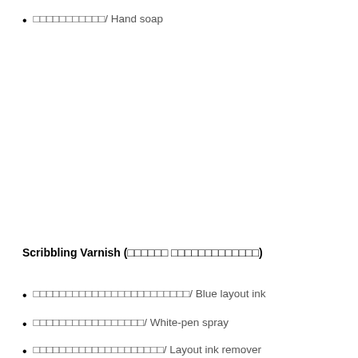□□□□□□□□□□□ / Hand soap
Scribbling Varnish (□□□□□□ □□□□□□□□□□□□□)
□□□□□□□□□□□□□□□□□□□□□□□□ / Blue layout ink
□□□□□□□□□□□□□□□□□ / White-pen spray
□□□□□□□□□□□□□□□□□□□□ / Layout ink remover